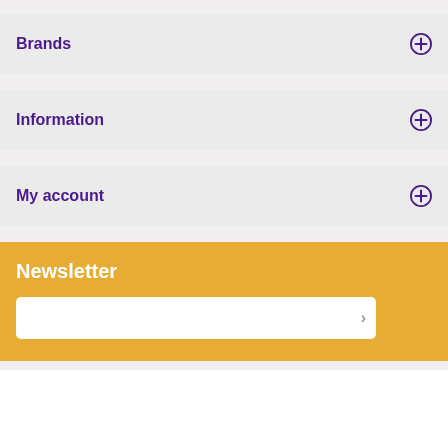Brands
Information
My account
[Figure (other): Newsletter signup section with golden/yellow background, title 'Newsletter', and an email input field with a right-arrow submit button]
Head Office